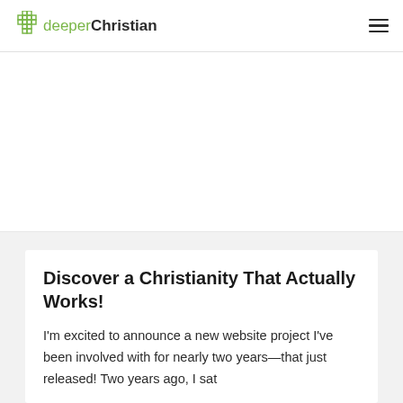deeperChristian
[Figure (other): Empty white banner/advertisement area below the site header]
Discover a Christianity That Actually Works!
I'm excited to announce a new website project I've been involved with for nearly two years—that just released! Two years ago, I sat